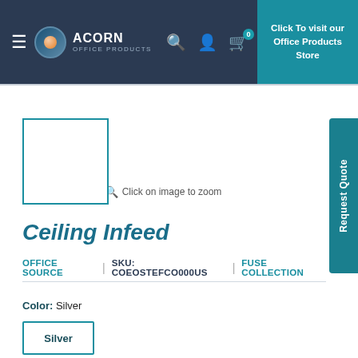[Figure (screenshot): Acorn Office Products navigation bar with hamburger menu, logo, search, account, cart icons, and teal CTA button]
Click on image to zoom
[Figure (other): Product image placeholder (empty white box with teal border)]
[Figure (other): Request Quote vertical sidebar button]
Ceiling Infeed
OFFICE SOURCE | SKU: COEOSTEFCO000US | FUSE COLLECTION
Color: Silver
Silver